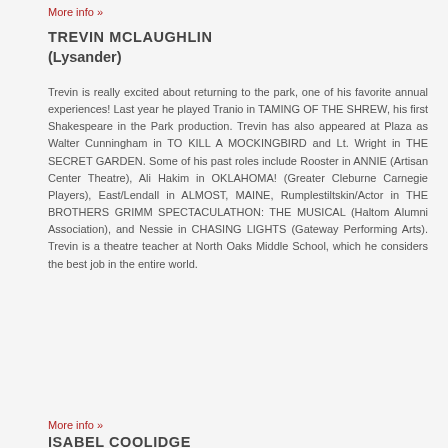More info »
TREVIN MCLAUGHLIN
(Lysander)
Trevin is really excited about returning to the park, one of his favorite annual experiences! Last year he played Tranio in TAMING OF THE SHREW, his first Shakespeare in the Park production. Trevin has also appeared at Plaza as Walter Cunningham in TO KILL A MOCKINGBIRD and Lt. Wright in THE SECRET GARDEN. Some of his past roles include Rooster in ANNIE (Artisan Center Theatre), Ali Hakim in OKLAHOMA! (Greater Cleburne Carnegie Players), East/Lendall in ALMOST, MAINE, Rumplestiltskin/Actor in THE BROTHERS GRIMM SPECTACULATHON: THE MUSICAL (Haltom Alumni Association), and Nessie in CHASING LIGHTS (Gateway Performing Arts). Trevin is a theatre teacher at North Oaks Middle School, which he considers the best job in the entire world.
More info »
ISABEL COOLIDGE